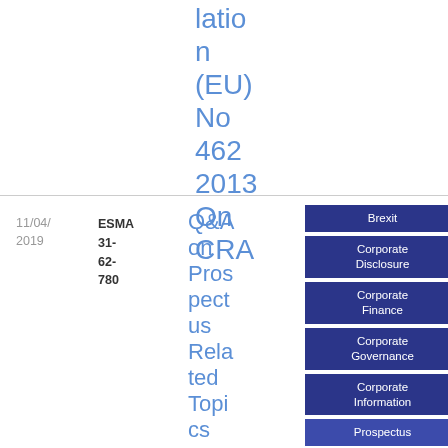lation
(EU)
No
462
2013
On
CRA
| Date | Reference | Title | Tags | Type | Download |
| --- | --- | --- | --- | --- | --- |
| 11/04/2019 | ESMA 31-62-780 | Q&A on Prospectus Related Topics | Brexit, Corporate Disclosure, Corporate Finance, Corporate Governance, Corporate Information, Prospectus | Q&A | PDF 95 7.9 KB |